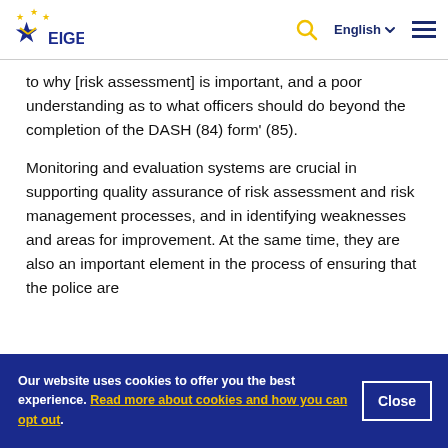EIGE logo, Search, English, Menu
to why [risk assessment] is important, and a poor understanding as to what officers should do beyond the completion of the DASH (84) form' (85).
Monitoring and evaluation systems are crucial in supporting quality assurance of risk assessment and risk management processes, and in identifying weaknesses and areas for improvement. At the same time, they are also an important element in the process of ensuring that the police are
Our website uses cookies to offer you the best experience. Read more about cookies and how you can opt out.